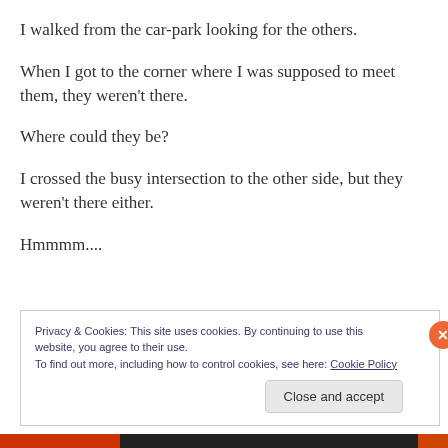I walked from the car-park looking for the others.
When I got to the corner where I was supposed to meet them, they weren't there.
Where could they be?
I crossed the busy intersection to the other side, but they weren't there either.
Hmmmm....
Privacy & Cookies: This site uses cookies. By continuing to use this website, you agree to their use.
To find out more, including how to control cookies, see here: Cookie Policy